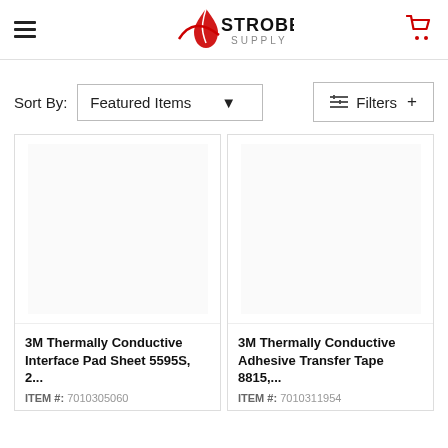Strobels Supply
Sort By: Featured Items
Filters +
[Figure (screenshot): Product card image area (blank) for 3M Thermally Conductive Interface Pad Sheet 5595S]
3M Thermally Conductive Interface Pad Sheet 5595S, 2...
ITEM #: 7010305060
[Figure (screenshot): Product card image area (blank) for 3M Thermally Conductive Adhesive Transfer Tape 8815]
3M Thermally Conductive Adhesive Transfer Tape 8815,...
ITEM #: 7010311954